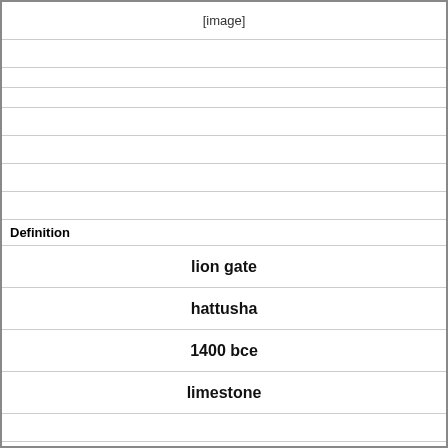[Figure (other): [image] placeholder row]
Definition
lion gate
hattusha
1400 bce
limestone
Term